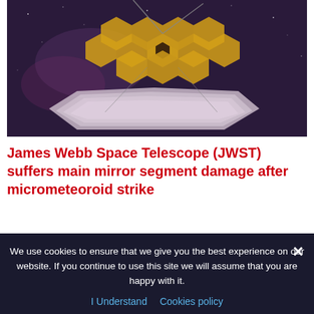[Figure (photo): Photograph of the James Webb Space Telescope in space, showing its gold hexagonal mirror segments and silver sunshield, against a dark purple/space background]
James Webb Space Telescope (JWST) suffers main mirror segment damage after micrometeoroid strike
NASA has reported that a micrometeoroid strike has caused some damage to the James Webb Space Telescope (JWST). The largest Read more
We use cookies to ensure that we give you the best experience on our website. If you continue to use this site we will assume that you are happy with it.
I Understand   Cookies policy